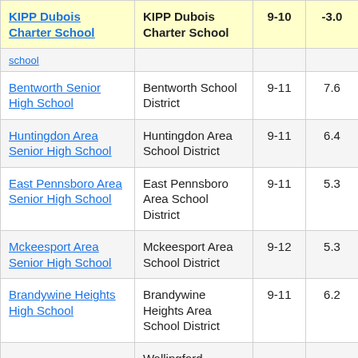| School | District | Grades | Value |  |
| --- | --- | --- | --- | --- |
| KIPP Dubois Charter School | KIPP Dubois Charter School | 9-10 | -3.0 | 3 |
| (school continued) |  |  |  |  |
| Bentworth Senior High School | Bentworth School District | 9-11 | 7.6 |  |
| Huntingdon Area Senior High School | Huntingdon Area School District | 9-11 | 6.4 |  |
| East Pennsboro Area Senior High School | East Pennsboro Area School District | 9-11 | 5.3 |  |
| Mckeesport Area Senior High School | Mckeesport Area School District | 9-12 | 5.3 |  |
| Brandywine Heights High School | Brandywine Heights Area School District | 9-11 | 6.2 |  |
| (partial row) | Wallingford- |  |  |  |